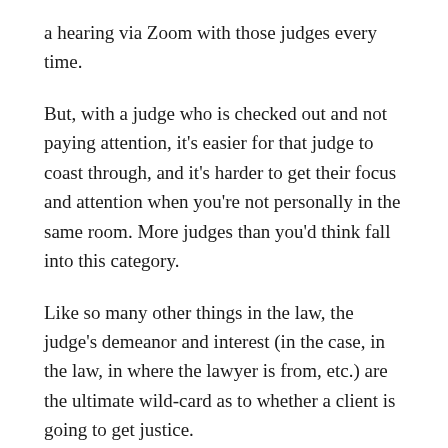a hearing via Zoom with those judges every time.
But, with a judge who is checked out and not paying attention, it’s easier for that judge to coast through, and it’s harder to get their focus and attention when you’re not personally in the same room. More judges than you’d think fall into this category.
Like so many other things in the law, the judge’s demeanor and interest (in the case, in the law, in where the lawyer is from, etc.) are the ultimate wild-card as to whether a client is going to get justice.
Tennessee sues Apple, Inc. over unfair and misleading information about iPhone updates and battery life. Last Friday, the Tennessee